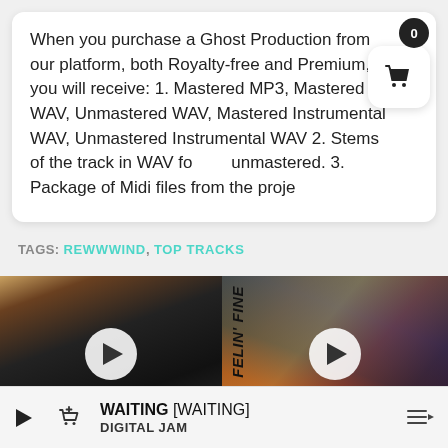When you purchase a Ghost Production from our platform, both Royalty-free and Premium, you will receive: 1. Mastered MP3, Mastered WAV, Unmastered WAV, Mastered Instrumental WAV, Unmastered Instrumental WAV 2. Stems of the track in WAV format unmastered. 3. Package of Midi files from the proje...
TAGS: REWWWIND, TOP TRACKS
[Figure (photo): Left thumbnail: dark moody grayscale photo of a person with play button overlay, label 'RT' in bottom-left corner]
[Figure (photo): Right thumbnail: colorful retro illustration with play button overlay, label 'FELIN' FINE' in vertical text on left side]
WAITING [WAITING] — DIGITAL JAM (player bar)